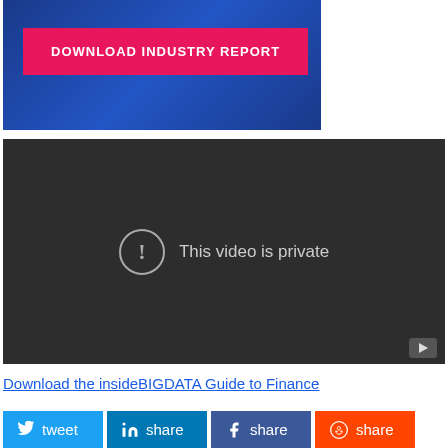[Figure (screenshot): Blue banner with a pink/magenta 'DOWNLOAD INDUSTRY REPORT' button on a dark blue background with network graphics]
[Figure (screenshot): Dark gray video player showing 'This video is private' message with exclamation icon and a play button in the bottom-right corner]
Download the insideBIGDATA Guide to Finance
[Figure (infographic): Social share buttons: tweet (Twitter/blue), share (LinkedIn/blue), share (Facebook/dark blue), share (Reddit/orange)]